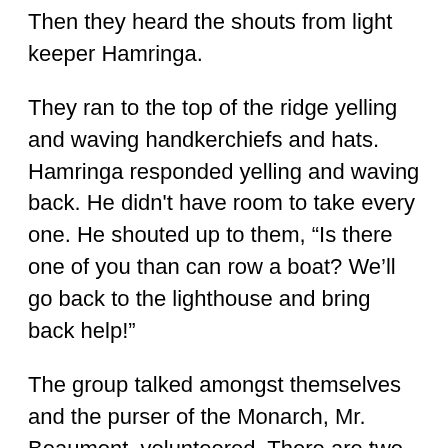Then they heard the shouts from light keeper Hamringa.
They ran to the top of the ridge yelling and waving handkerchiefs and hats. Hamringa responded yelling and waving back. He didn't have room to take every one. He shouted up to them, “Is there one of you than can row a boat? We’ll go back to the lighthouse and bring back help!”
The group talked amongst themselves and the purser of the Monarch, Mr. Beaumont, volunteered. There are two differing stories about how the purser got to Hamringa. The first was that Beaumont was lowered down the ice-covered face of the rock by the survivors above. He waited until he was within jumping distance of the rowboat and was able to land